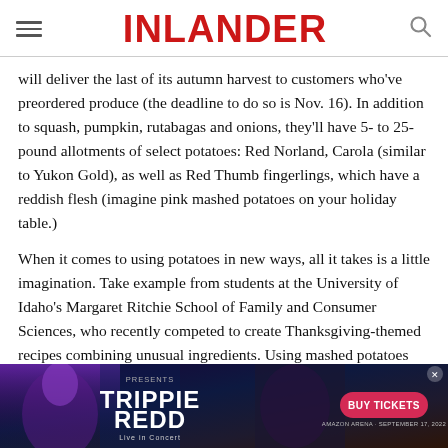INLANDER
will deliver the last of its autumn harvest to customers who've preordered produce (the deadline to do so is Nov. 16). In addition to squash, pumpkin, rutabagas and onions, they'll have 5- to 25-pound allotments of select potatoes: Red Norland, Carola (similar to Yukon Gold), as well as Red Thumb fingerlings, which have a reddish flesh (imagine pink mashed potatoes on your holiday table.)
When it comes to using potatoes in new ways, all it takes is a little imagination. Take example from students at the University of Idaho's Margaret Ritchie School of Family and Consumer Sciences, who recently competed to create Thanksgiving-themed recipes combining unusual ingredients. Using mashed potatoes (and with no cookie-baking experience), students Morgan Pearson and Dana Kujala created an impressive chocolate lava cookie, featuring dark
[Figure (photo): Advertisement banner for Trippie Redd Live in Concert with Buy Tickets button, September 17, 2022]